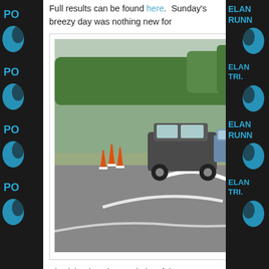Full results can be found here.  Sunday's breezy day was nothing new for
[Figure (photo): A cyclist in white kit riding on a roundabout road, with a car and traffic cones visible in the background. Trees and hedgerows visible behind.]
Alnwick Tri as the proximity of the coast usually makes for a windy bike leg.  The off-road run climbs steadily from transition testing the legs after the move from the bike.  The off-road gradient kicking in whilst the legs were still in transition………  All Ponteland Runners enjoyed the event and plan to be there again next year to try and improve on the times.  Maybe Adam and Paul Armstrong will join in after great performances in Ashington last week.